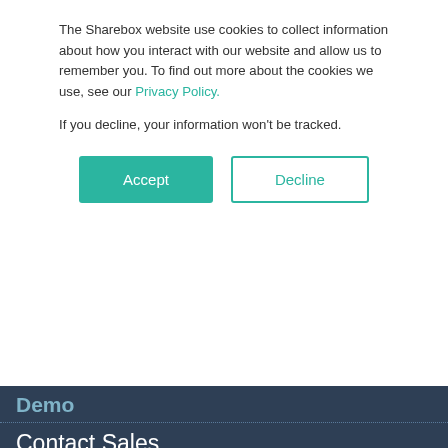The Sharebox website use cookies to collect information about how you interact with our website and allow us to remember you. To find out more about the cookies we use, see our Privacy Policy.
If you decline, your information won't be tracked.
Accept
Decline
Demo
Contact Sales
Sharebox Blog
Self-serve machines help car dealership serve more